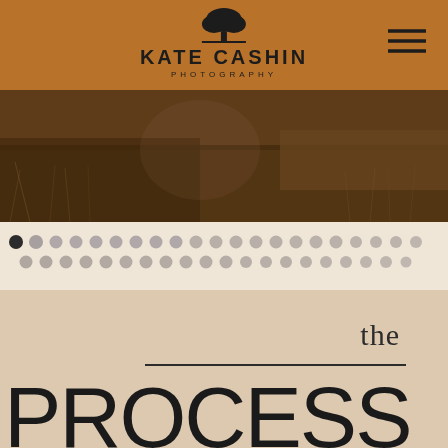KATE CASHIN PHOTOGRAPHY
[Figure (photo): Outdoor field scene with dry grass and warm tones, partially visible figure near a tree]
[Figure (other): Pagination dots row - one dark filled dot followed by many light grey dots arranged in two rows]
the PROCESS